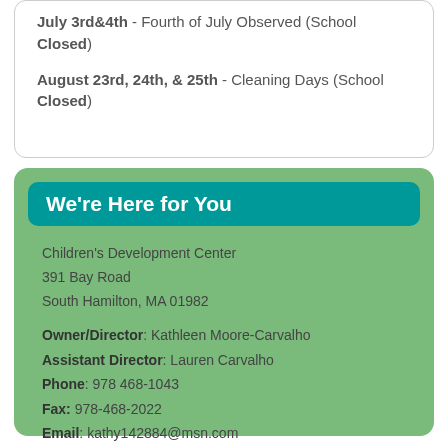July 3rd&4th - Fourth of July Observed (School Closed)
August 23rd, 24th, & 25th - Cleaning Days (School Closed)
We're Here for You
Children's Development Center
391 Bay Road
South Hamilton, MA 01982
Owner/Director: Kathleen Moore-Carvalho
Assistant Director: Lauren Carvalho
Phone: 978 468-1043
Fax: 978-468-2022
Email: kathy142884@msn.com